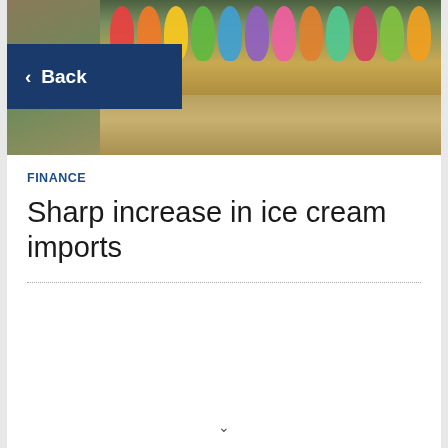[Figure (photo): Photo of an ice cream display counter with colorful scoops of ice cream in a shop, viewed from the front. A dark navy blue 'Back' button with a left-pointing chevron overlays the top-left of the image.]
FINANCE
Sharp increase in ice cream imports